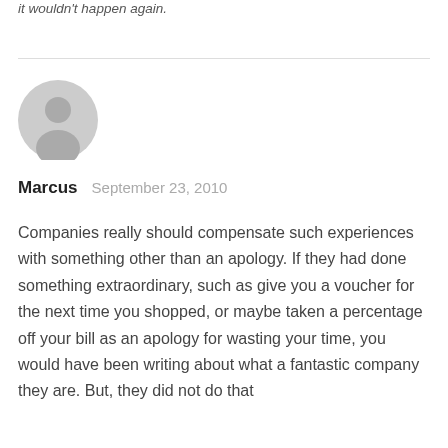it wouldn't happen again.
[Figure (illustration): Generic user avatar icon — grey circle with person silhouette]
Marcus   September 23, 2010
Companies really should compensate such experiences with something other than an apology. If they had done something extraordinary, such as give you a voucher for the next time you shopped, or maybe taken a percentage off your bill as an apology for wasting your time, you would have been writing about what a fantastic company they are. But, they did not do that